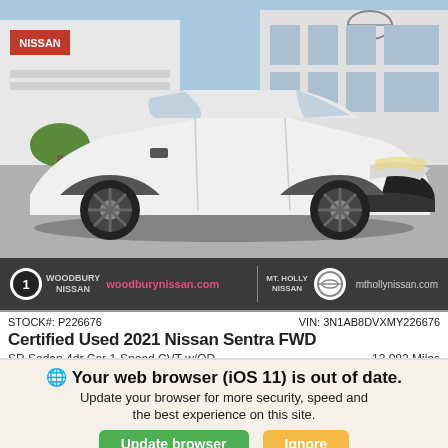[Figure (photo): White 2021 Nissan Sentra FWD sedan parked in front of a Nissan dealership building. The car is white with dark alloy wheels, shown from a 3/4 front-left angle. Woodbury Nissan and Mt. Holly Nissan dealer branding bar at the bottom of the photo.]
STOCK#: P226676    VIN: 3N1AB8DVXMY226676
Certified Used 2021 Nissan Sentra FWD
SR Sedan 4dr Car 1-Speed CVT w/OD    13,082 Miles
Exterior: White  /  Interior: Sport
Sale Price
Your web browser (iOS 11) is out of date. Update your browser for more security, speed and the best experience on this site.